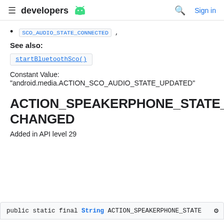developers [android logo] | Search | Sign in
SCO_AUDIO_STATE_CONNECTED ,
See also:
startBluetoothSco()
Constant Value:
"android.media.ACTION_SCO_AUDIO_STATE_UPDATED"
ACTION_SPEAKERPHONE_STATE_CHANGED
Added in API level 29
public static final String ACTION_SPEAKERPHONE_STATE